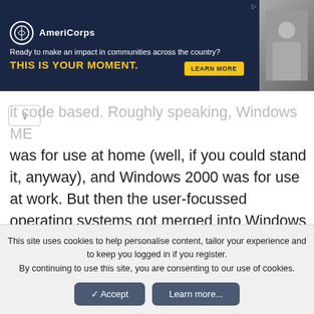[Figure (other): AmeriCorps advertisement banner with dark navy background, logo, tagline 'Ready to make an impact in communities across the country?', bold yellow text 'THIS IS YOUR MOMENT.', a LEARN MORE button, and a photo of people on the right.]
it code based. Roughly speaking, Windows ME was for use at home (well, if you could stand it, anyway), and Windows 2000 was for use at work. But then the user-focussed operating systems got merged into Windows XP, with Windows Server products continuing for the server types.
This site uses cookies to help personalise content, tailor your experience and to keep you logged in if you register.
By continuing to use this site, you are consenting to our use of cookies.